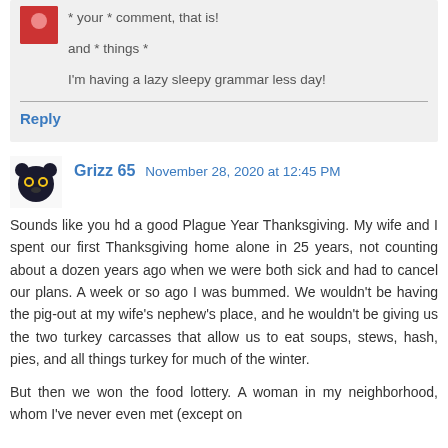* your * comment, that is!
and * things *
I'm having a lazy sleepy grammar less day!
Reply
Grizz 65  November 28, 2020 at 12:45 PM
Sounds like you hd a good Plague Year Thanksgiving. My wife and I spent our first Thanksgiving home alone in 25 years, not counting about a dozen years ago when we were both sick and had to cancel our plans. A week or so ago I was bummed. We wouldn't be having the pig-out at my wife's nephew's place, and he wouldn't be giving us the two turkey carcasses that allow us to eat soups, stews, hash, pies, and all things turkey for much of the winter.
But then we won the food lottery. A woman in my neighborhood, whom I've never even met (except on